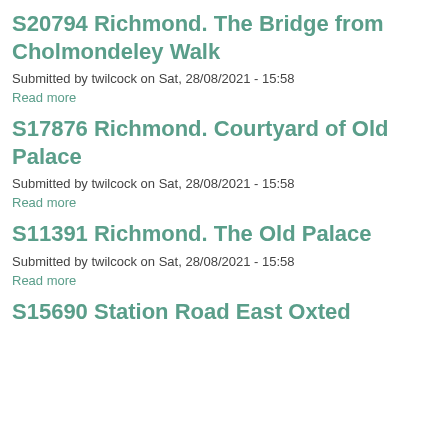S20794 Richmond. The Bridge from Cholmondeley Walk
Submitted by twilcock on Sat, 28/08/2021 - 15:58
Read more
S17876 Richmond. Courtyard of Old Palace
Submitted by twilcock on Sat, 28/08/2021 - 15:58
Read more
S11391 Richmond. The Old Palace
Submitted by twilcock on Sat, 28/08/2021 - 15:58
Read more
S15690 Station Road East Oxted